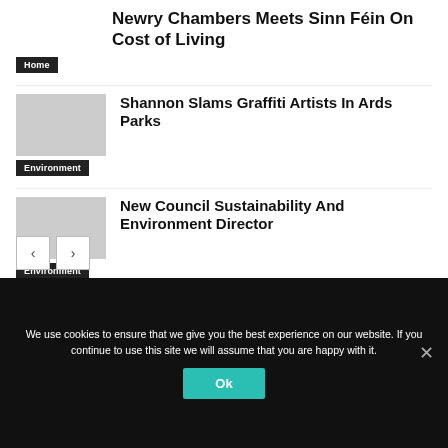Newry Chambers Meets Sinn Féin On Cost of Living
Home
Shannon Slams Graffiti Artists In Ards Parks
Environment
New Council Sustainability And Environment Director
Environment
We use cookies to ensure that we give you the best experience on our website. If you continue to use this site we will assume that you are happy with it.
Ok